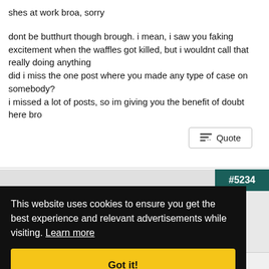shes at work broa, sorry

dont be butthurt though brough. i mean, i saw you faking excitement when the waffles got killed, but i wouldnt call that really doing anything
did i miss the one post where you made any type of case on somebody?
i missed a lot of posts, so im giving you the benefit of doubt here bro
#5234
This website uses cookies to ensure you get the best experience and relevant advertisements while visiting. Learn more
Got it!
...fairly called with facts and common sense